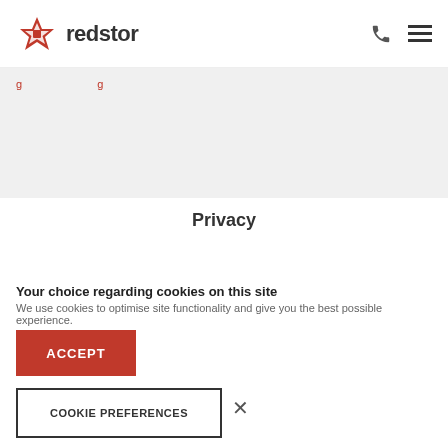[Figure (logo): Redstor logo with red star icon and the word 'redstor' in dark text]
[Figure (infographic): Navigation icons: phone handset and hamburger menu icon on the right side of the header]
[Figure (screenshot): Grey banner area with partial red navigation link text visible]
Privacy
Your choice regarding cookies on this site
We use cookies to optimise site functionality and give you the best possible experience.
ACCEPT
COOKIE PREFERENCES